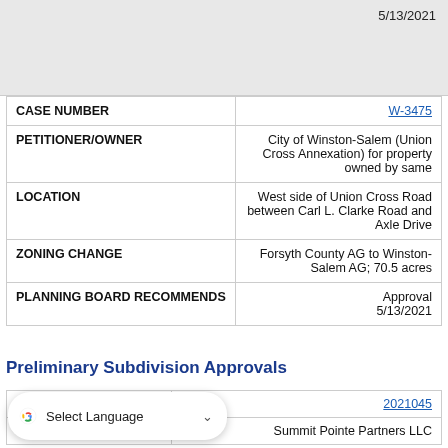5/13/2021
| Field | Value |
| --- | --- |
| CASE NUMBER | W-3475 |
| PETITIONER/OWNER | City of Winston-Salem (Union Cross Annexation) for property owned by same |
| LOCATION | West side of Union Cross Road between Carl L. Clarke Road and Axle Drive |
| ZONING CHANGE | Forsyth County AG to Winston-Salem AG; 70.5 acres |
| PLANNING BOARD RECOMMENDS | Approval
5/13/2021 |
Preliminary Subdivision Approvals
| Field | Value |
| --- | --- |
| Case Number | 2021045 |
| Petitioner/Owner | Summit Pointe Partners LLC |